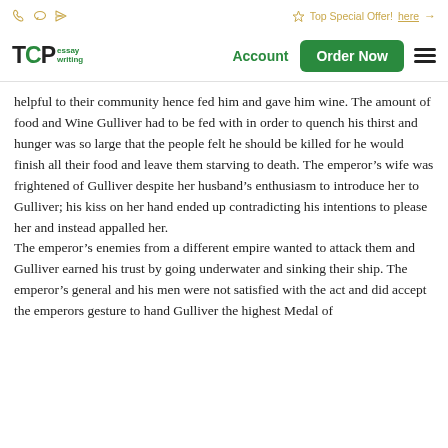Top Special Offer! here →
TCP essay writing | Account | Order Now
helpful to their community hence fed him and gave him wine. The amount of food and Wine Gulliver had to be fed with in order to quench his thirst and hunger was so large that the people felt he should be killed for he would finish all their food and leave them starving to death. The emperor's wife was frightened of Gulliver despite her husband's enthusiasm to introduce her to Gulliver; his kiss on her hand ended up contradicting his intentions to please her and instead appalled her. The emperor's enemies from a different empire wanted to attack them and Gulliver earned his trust by going underwater and sinking their ship. The emperor's general and his men were not satisfied with the act and did accept the emperors gesture to hand Gulliver the highest Medal of